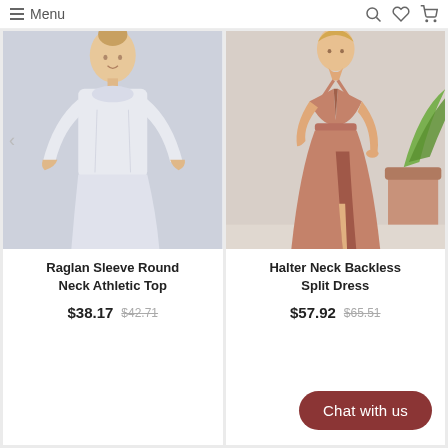Menu
[Figure (photo): Woman wearing a white raglan sleeve round neck athletic top with matching skirt]
Raglan Sleeve Round Neck Athletic Top
$38.17  $42.71
[Figure (photo): Woman wearing a rose/dusty pink halter neck backless split maxi dress, standing near a plant]
Halter Neck Backless Split Dress
$57.92  $65.51
Chat with us